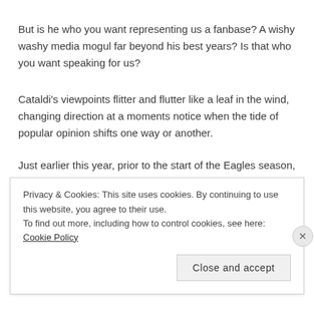But is he who you want representing us a fanbase? A wishy washy media mogul far beyond his best years? Is that who you want speaking for us?
Cataldi's viewpoints flitter and flutter like a leaf in the wind, changing direction at a moments notice when the tide of popular opinion shifts one way or another.
Just earlier this year, prior to the start of the Eagles season, Cataldi
Privacy & Cookies: This site uses cookies. By continuing to use this website, you agree to their use.
To find out more, including how to control cookies, see here: Cookie Policy
Close and accept